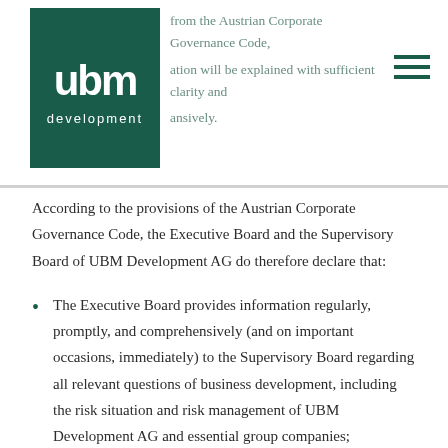from the Austrian Corporate Governance Code, ation will be explained with sufficient clarity and ansively.
According to the provisions of the Austrian Corporate Governance Code, the Executive Board and the Supervisory Board of UBM Development AG do therefore declare that:
The Executive Board provides information regularly, promptly, and comprehensively (and on important occasions, immediately) to the Supervisory Board regarding all relevant questions of business development, including the risk situation and risk management of UBM Development AG and essential group companies;
The Executive Board informs the Supervisory Board